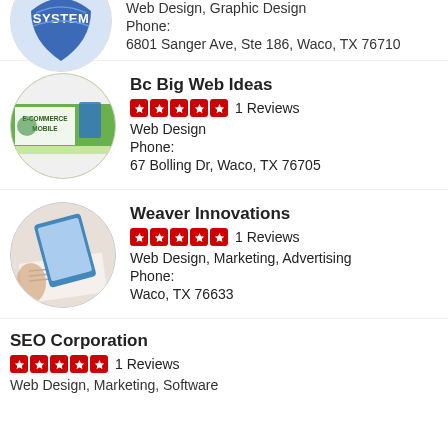Web Design, Graphic Design
Phone:
6801 Sanger Ave, Ste 186, Waco, TX 76710
Bc Big Web Ideas
5 stars 1 Reviews
Web Design
Phone:
67 Bolling Dr, Waco, TX 76705
Weaver Innovations
5 stars 1 Reviews
Web Design, Marketing, Advertising
Phone:
Waco, TX 76633
SEO Corporation
5 stars 1 Reviews
Web Design, Marketing, Software